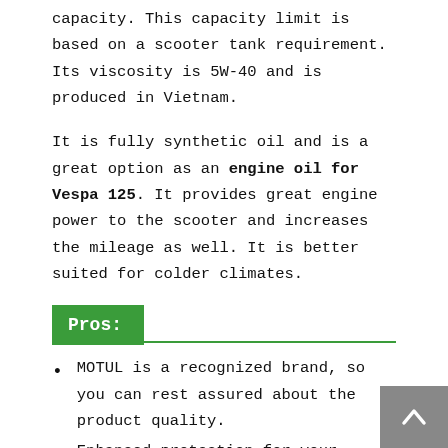capacity. This capacity limit is based on a scooter tank requirement. Its viscosity is 5W-40 and is produced in Vietnam.
It is fully synthetic oil and is a great option as an engine oil for Vespa 125. It provides great engine power to the scooter and increases the mileage as well. It is better suited for colder climates.
Pros:
MOTUL is a recognized brand, so you can rest assured about the product quality.
Enhanced protection for your engine with an increased running time for your